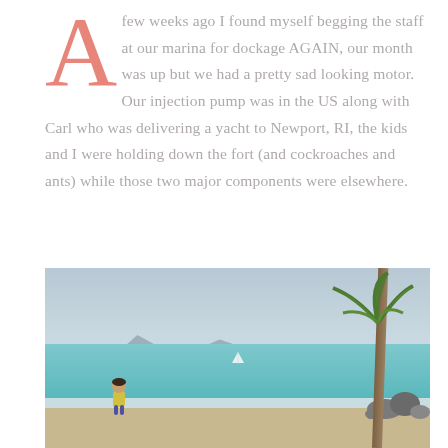A few weeks ago I found myself begging the staff at our marina for dockage AGAIN, our month was up but we had a pretty sad looking motor. Our injection pump was in the US along with Carl who was delivering a yacht to Newport, RI, the kids and I were holding down the fort (and cockroaches and ants) while those two major components were elsewhere.
[Figure (photo): A beach scene with a child in a yellow shirt in the foreground, a palm tree on the right, turquoise water in the middle ground, mountains in the distance, and an overcast sky.]